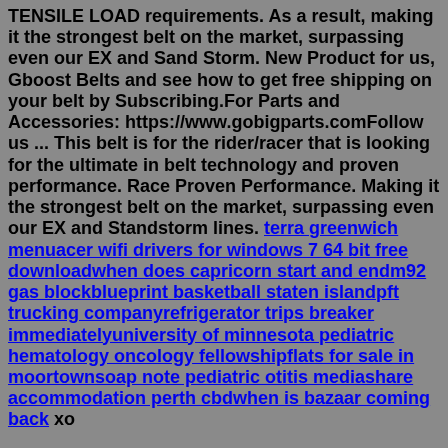TENSILE LOAD requirements. As a result, making it the strongest belt on the market, surpassing even our EX and Sand Storm. New Product for us, Gboost Belts and see how to get free shipping on your belt by Subscribing.For Parts and Accessories: https://www.gobigparts.comFollow us ... This belt is for the rider/racer that is looking for the ultimate in belt technology and proven performance. Race Proven Performance. Making it the strongest belt on the market, surpassing even our EX and Standstorm lines. terra greenwich menuacer wifi drivers for windows 7 64 bit free downloadwhen does capricorn start and endm92 gas blockblueprint basketball staten islandpft trucking companyrefrigerator trips breaker immediatelyuniversity of minnesota pediatric hematology oncology fellowshipflats for sale in moortownsoap note pediatric otitis mediashare accommodation perth cbdwhen is bazaar coming back xo